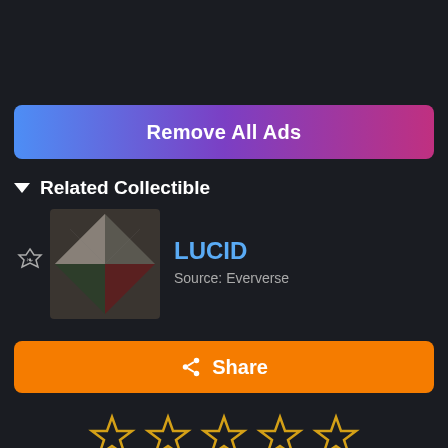Remove All Ads
Related Collectible
[Figure (illustration): Game item thumbnail for LUCID - a diamond-shaped emblem with dark green, red and grey fabric texture sections]
LUCID
Source: Eververse
Share
[Figure (illustration): 5 empty star rating icons in a row]